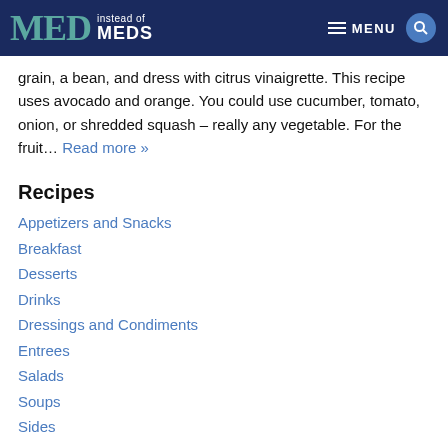MED instead of MEDS — MENU
grain, a bean, and dress with citrus vinaigrette. This recipe uses avocado and orange. You could use cucumber, tomato, onion, or shredded squash – really any vegetable. For the fruit… Read more »
Recipes
Appetizers and Snacks
Breakfast
Desserts
Drinks
Dressings and Condiments
Entrees
Salads
Soups
Sides